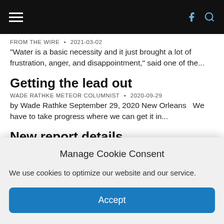Navigation bar with hamburger menu, Facebook icon, search icon
FROM THE WIRE • 2021-03-02
"Water is a basic necessity and it just brought a lot of frustration, anger, and disappointment," said one of the...
Getting the lead out
WADE RATHKE METEOR COLUMNIST • 2020-09-29
by Wade Rathke September 29, 2020 New Orleans   We have to take progress where we can get it in...
New report details flooding/contamination risks at uranium mine near Grand Canyon
METEOR STAFF • 2020-05-01
April 28, 2020 Flagstaff, Ariz.    The Grand Canyon Trust reports serious problems at the Canyon Mine uranium mine south of
Manage Cookie Consent
We use cookies to optimize our website and our service.
Accept